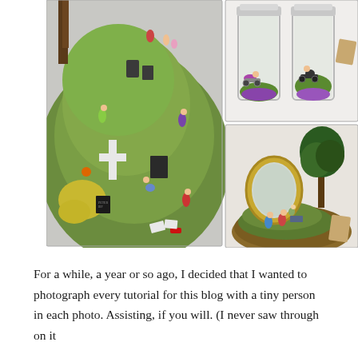[Figure (photo): A photo collage of three miniature diorama scenes: left large image shows a green grassy hill cemetery scene with tiny human figurines and grave markers including a white cross; top right image shows two glass jar terrariums containing miniature motorcycle riders on green moss with purple gravel; bottom right image shows a miniature park scene on a platter base with a tree, mirror, and tiny figurines of people.]
For a while, a year or so ago, I decided that I wanted to photograph every tutorial for this blog with a tiny person in each photo. Assisting, if you will. (I never saw through on it